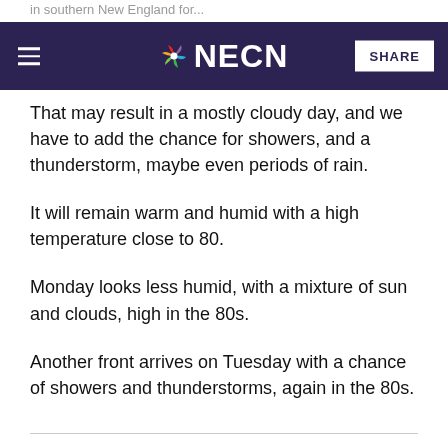in southern New England for...
NECN SHARE
That may result in a mostly cloudy day, and we have to add the chance for showers, and a thunderstorm, maybe even periods of rain.
It will remain warm and humid with a high temperature close to 80.
Monday looks less humid, with a mixture of sun and clouds, high in the 80s.
Another front arrives on Tuesday with a chance of showers and thunderstorms, again in the 80s.